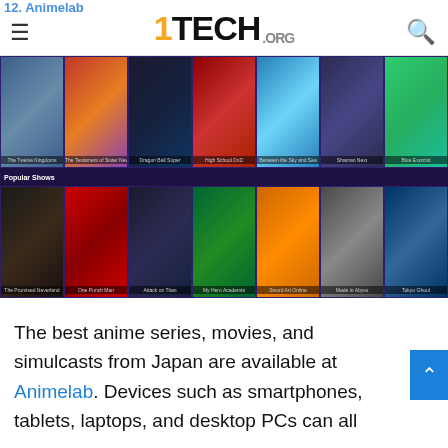12. Animelab — 1TECH.ORG
[Figure (screenshot): Screenshot of Animelab website showing a grid of anime show thumbnails in two rows. Top row includes: The Twelve Kingdoms, The Testament of Sister New Devil, Dragon Ball Super, High School DxD, Between the Sky and Sea, Shaman King, Blue Exorcist. Bottom row (Popular Shows section) includes: The Promised Neverland, One Punch Man, Attack on Titan, My Hero Academia, Sword Art Online, Made in Abyss, Tokyo Ghoul.]
The best anime series, movies, and simulcasts from Japan are available at Animelab. Devices such as smartphones, tablets, laptops, and desktop PCs can all